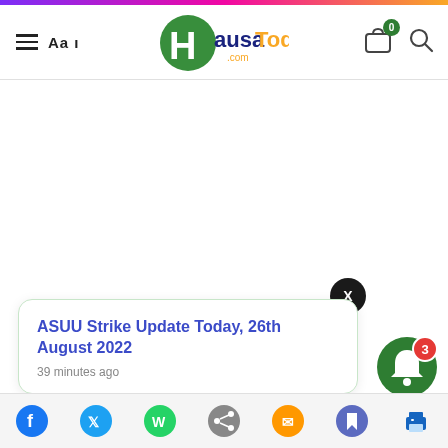HausaToday.com
ASUU Strike Update Today, 26th August 2022
39 minutes ago